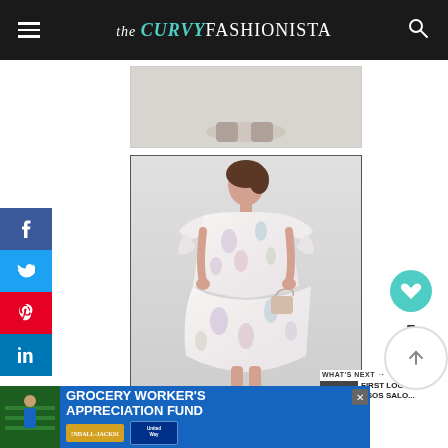the CURVY FASHIONISTA
[Figure (photo): Partial fashion photo at top, showing lower portion of a white background product shot]
[Figure (photo): Woman wearing a floral printed smock dress with ruffle sleeves on a light grey background, ASOS Curve product photo]
WHAT'S NEXT → FIRST LOOK: ASOS SALO...
[Figure (photo): Advertisement: GROCERY WORKER'S APPRECIATION FUND with Kendall-Jackson and United Way logos]